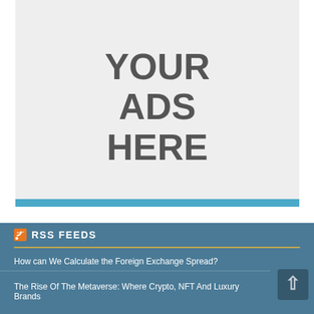[Figure (logo): JustPay logo with orange 'Just' and blue 'Pay' text]
[Figure (other): Advertisement placeholder with large text 'YOUR ADS HERE' on grey background with blue bottom bar]
RSS FEEDS
How can We Calculate the Foreign Exchange Spread?
The Rise Of The Metaverse: Where Crypto, NFT And Luxury Brands